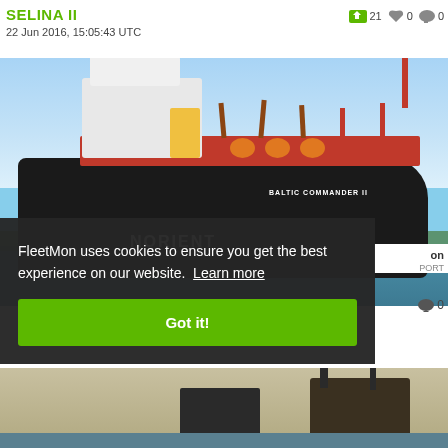SELINA II
22 Jun 2016, 15:05:43 UTC
[Figure (photo): Large black tanker ship named NORIENT / BALTIC COMMANDER II on water, with red superstructure and cranes, blue sky background]
FleetMon uses cookies to ensure you get the best experience on our website. Learn more
Got it!
[Figure (photo): Partial view of another ship photo at the bottom of the page]